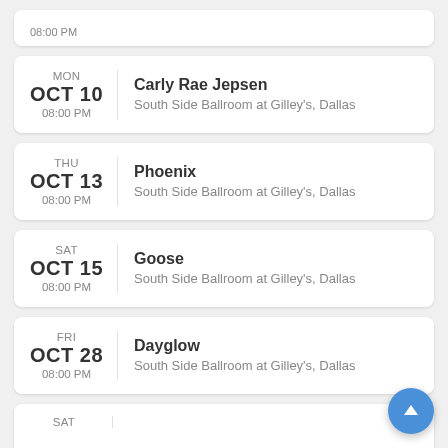MON OCT 10 08:00 PM | Carly Rae Jepsen | South Side Ballroom at Gilley's, Dallas
THU OCT 13 08:00 PM | Phoenix | South Side Ballroom at Gilley's, Dallas
SAT OCT 15 08:00 PM | Goose | South Side Ballroom at Gilley's, Dallas
FRI OCT 28 08:00 PM | Dayglow | South Side Ballroom at Gilley's, Dallas
SAT ...